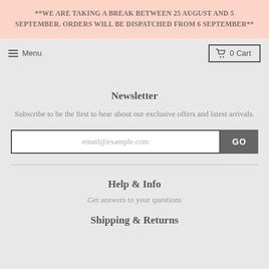**WE ARE TAKING A BREAK BETWEEN 25 AUGUST AND 5 SEPTEMBER. ORDERS WILL BE DISPATCHED FROM 6 SEPTEMBER**
Newsletter
Subscribe to be the first to hear about our exclusive offers and latest arrivals.
Help & Info
Get answers to your questions
Shipping & Returns